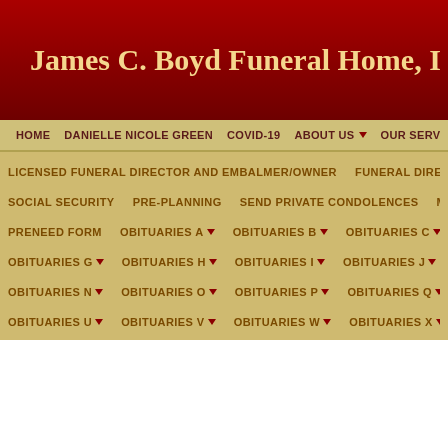James C. Boyd Funeral Home, I
HOME  DANIELLE NICOLE GREEN  COVID-19  ABOUT US ▼  OUR SERVICE
LICENSED FUNERAL DIRECTOR AND EMBALMER/OWNER  FUNERAL DIRECTO
SOCIAL SECURITY  PRE-PLANNING  SEND PRIVATE CONDOLENCES  MAIN O
PRENEED FORM  OBITUARIES A ▼  OBITUARIES B ▼  OBITUARIES C ▼  O
OBITUARIES G ▼  OBITUARIES H ▼  OBITUARIES I ▼  OBITUARIES J ▼  O
OBITUARIES N ▼  OBITUARIES O ▼  OBITUARIES P ▼  OBITUARIES Q ▼
OBITUARIES U ▼  OBITUARIES V ▼  OBITUARIES W ▼  OBITUARIES X ▼